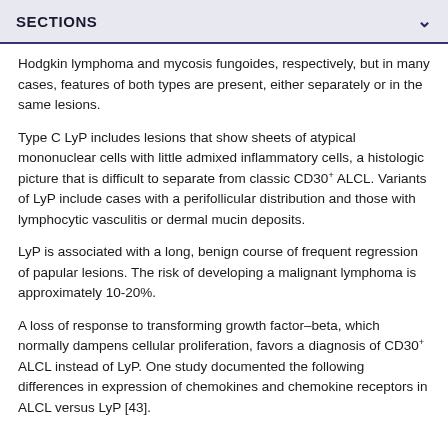SECTIONS
Hodgkin lymphoma and mycosis fungoides, respectively, but in many cases, features of both types are present, either separately or in the same lesions.
Type C LyP includes lesions that show sheets of atypical mononuclear cells with little admixed inflammatory cells, a histologic picture that is difficult to separate from classic CD30+ ALCL. Variants of LyP include cases with a perifollicular distribution and those with lymphocytic vasculitis or dermal mucin deposits.
LyP is associated with a long, benign course of frequent regression of papular lesions. The risk of developing a malignant lymphoma is approximately 10-20%.
A loss of response to transforming growth factor–beta, which normally dampens cellular proliferation, favors a diagnosis of CD30+ ALCL instead of LyP. One study documented the following differences in expression of chemokines and chemokine receptors in ALCL versus LyP [43].